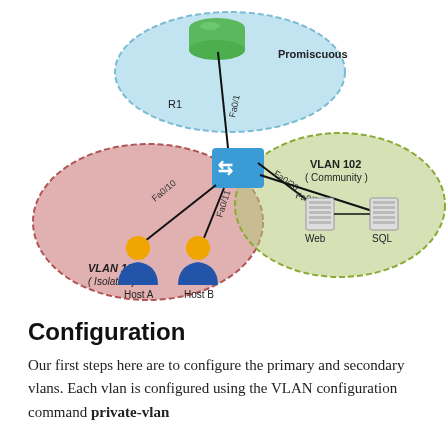[Figure (network-graph): Network diagram showing a private VLAN setup. A blue switch in the center connects to: (1) a green router R1 in a blue ellipse labeled 'Promiscuous' via port Fa0/1, (2) two user hosts (Host A and Host B) in a red/pink ellipse labeled 'VLAN 101 (Isolated)' via ports Fa0/10 and Fa0/11, and (3) two servers (Web and SQL) in a green ellipse labeled 'VLAN 102 (Community)' via ports Fa0/20 and Fa0/21.]
Configuration
Our first steps here are to configure the primary and secondary vlans. Each vlan is configured using the VLAN configuration command private-vlan